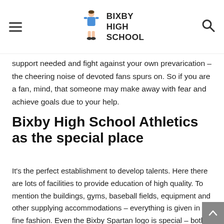BIXBY HIGH SCHOOL
support needed and fight against your own prevarication – the cheering noise of devoted fans spurs on. So if you are a fan, mind, that someone may make away with fear and achieve goals due to your help.
Bixby High School Athletics as the special place
It's the perfect establishment to develop talents. Here there are lots of facilities to provide education of high quality. To mention the buildings, gyms, baseball fields, equipment and other supplying accommodations – everything is given in fine fashion. Even the Bixby Spartan logo is special – both beautiful and nameable.